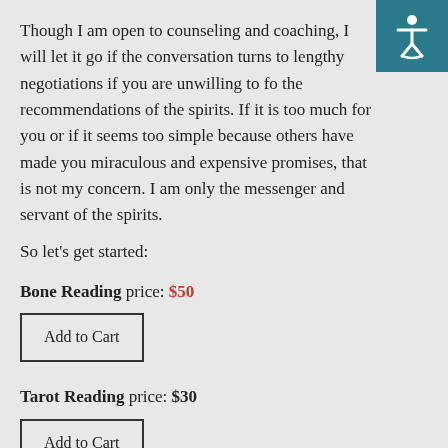Though I am open to counseling and coaching, I will let it go if the conversation turns to lengthy negotiations if you are unwilling to follow the recommendations of the spirits. If it is too much for you or if it seems too simple because others have made you miraculous and expensive promises, that is not my concern. I am only the messenger and servant of the spirits.
So let’s get started:
Bone Reading price: $50
Add to Cart
Tarot Reading price: $30
Add to Cart
If you are asking about a relationship, a compatibility reading should be done first. You can use our free online love reading, or order one from me: